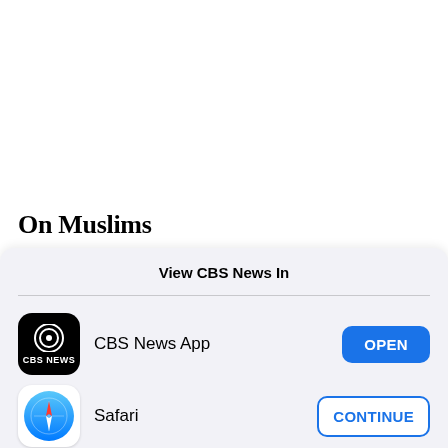On Muslims
View CBS News In
CBS News App — OPEN
Safari — CONTINUE